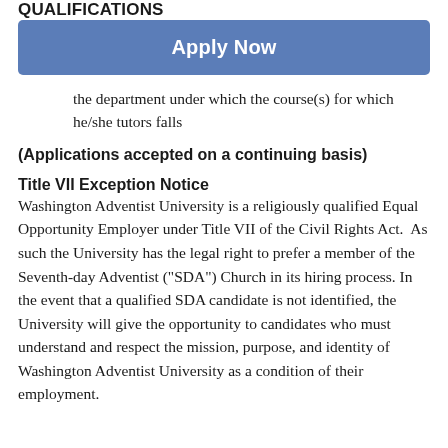QUALIFICATIONS
[Figure (other): Apply Now button — blue rounded rectangle with white bold text]
the department under which the course(s) for which he/she tutors falls
(Applications accepted on a continuing basis)
Title VII Exception Notice
Washington Adventist University is a religiously qualified Equal Opportunity Employer under Title VII of the Civil Rights Act.  As such the University has the legal right to prefer a member of the Seventh-day Adventist ("SDA") Church in its hiring process. In the event that a qualified SDA candidate is not identified, the University will give the opportunity to candidates who must understand and respect the mission, purpose, and identity of Washington Adventist University as a condition of their employment.